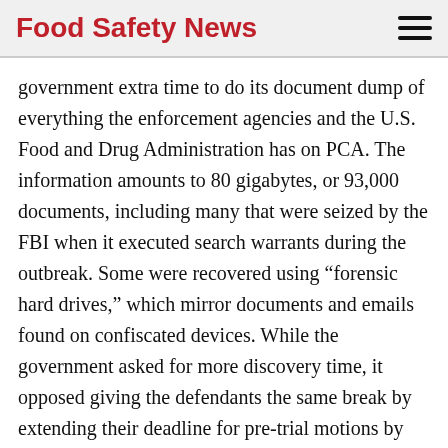Food Safety News
government extra time to do its document dump of everything the enforcement agencies and the U.S. Food and Drug Administration has on PCA. The information amounts to 80 gigabytes, or 93,000 documents, including many that were seized by the FBI when it executed search warrants during the outbreak. Some were recovered using “forensic hard drives,” which mirror documents and emails found on confiscated devices. While the government asked for more discovery time, it opposed giving the defendants the same break by extending their deadline for pre-trial motions by two weeks to July 29. Attorneys for Stewart Parnell, the former chief executive officer of the defunct peanut company, said they needed more